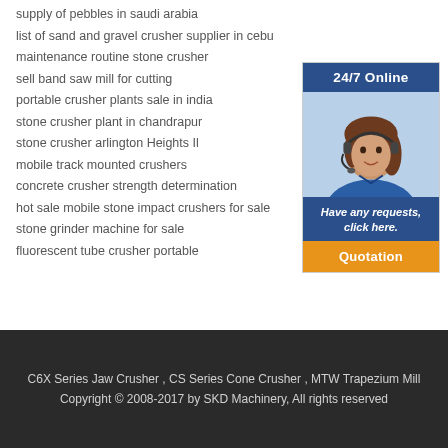supply of pebbles in saudi arabia
list of sand and gravel crusher supplier in cebu
maintenance routine stone crusher
sell band saw mill for cutting
portable crusher plants sale in india
stone crusher plant in chandrapur
stone crusher arlington Heights Il
mobile track mounted crushers
concrete crusher strength determination
hot sale mobile stone impact crushers for sale
stone grinder machine for sale
fluorescent tube crusher portable
[Figure (photo): 24/7 Online customer service representative wearing headset, with 'Have any requests, click here.' and 'Quotation' button]
C6X Series Jaw Crusher , CS Series Cone Crusher , MTW Trapezium Mill
Copyright © 2008-2017 by SKD Machinery, All rights reserved